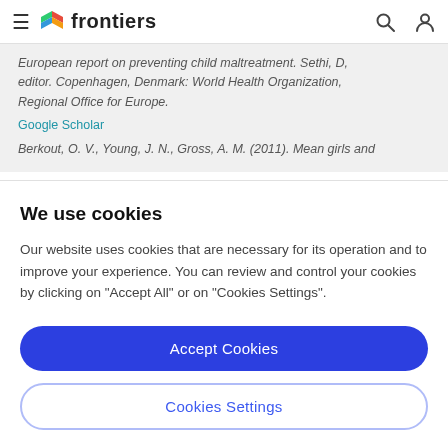frontiers
European report on preventing child maltreatment. Sethi, D, editor. Copenhagen, Denmark: World Health Organization, Regional Office for Europe.
Google Scholar
Berkout, O. V., Young, J. N., Gross, A. M. (2011). Mean girls and
We use cookies
Our website uses cookies that are necessary for its operation and to improve your experience. You can review and control your cookies by clicking on "Accept All" or on "Cookies Settings".
Accept Cookies
Cookies Settings